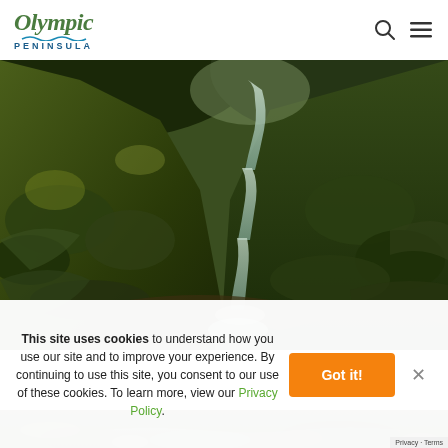Olympic Peninsula
[Figure (photo): Scenic waterfall cascading down a mossy, fern-covered hillside in a lush green forest on the Olympic Peninsula]
This site uses cookies to understand how you use our site and to improve your experience. By continuing to use this site, you consent to our use of these cookies. To learn more, view our Privacy Policy.
[Figure (photo): Partial view of a rocky stream or river in a forested area on the Olympic Peninsula]